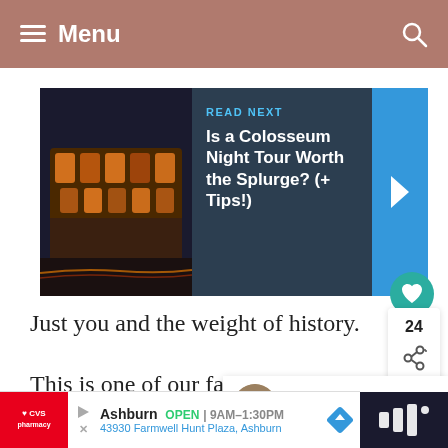Menu
[Figure (screenshot): Read Next card featuring Colosseum night photo with dark panel title: Is a Colosseum Night Tour Worth the Splurge? (+ Tips!)]
Just you and the weight of history.
This is one of our favorite thin... we've ever done in Rome, and we can
[Figure (infographic): What's Next popup showing 2 Days in Rome: An E...]
Ashburn OPEN | 9AM–1:30PM 43930 Farmwell Hunt Plaza, Ashburn (CVS Pharmacy advertisement)